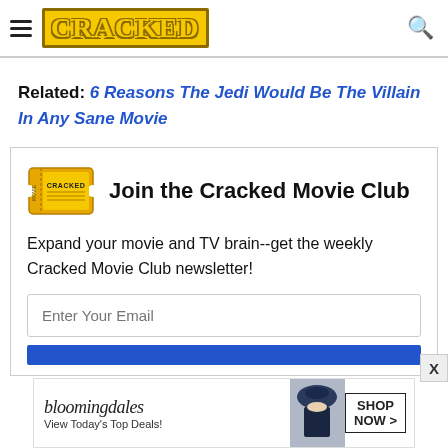CRACKED
Related: 6 Reasons The Jedi Would Be The Villain In Any Sane Movie
Join the Cracked Movie Club
Expand your movie and TV brain--get the weekly Cracked Movie Club newsletter!
[Figure (screenshot): Bloomingdales advertisement banner: 'bloomingdales — View Today's Top Deals! SHOP NOW >']